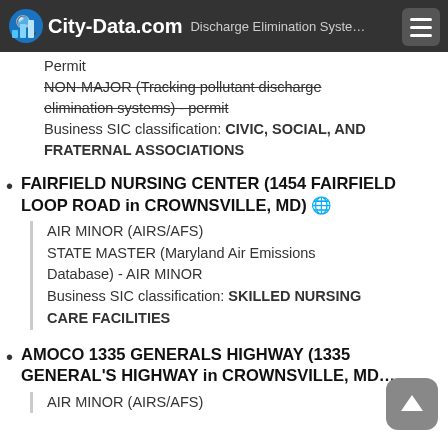City-Data.com — Discharge Elimination System
Permit
NON-MAJOR (Tracking pollutant discharge elimination systems) - permit
Business SIC classification: CIVIC, SOCIAL, AND FRATERNAL ASSOCIATIONS
FAIRFIELD NURSING CENTER (1454 FAIRFIELD LOOP ROAD in CROWNSVILLE, MD)
AIR MINOR (AIRS/AFS)
STATE MASTER (Maryland Air Emissions Database) - AIR MINOR
Business SIC classification: SKILLED NURSING CARE FACILITIES
AMOCO 1335 GENERALS HIGHWAY (1335 GENERAL'S HIGHWAY in CROWNSVILLE, MD)
AIR MINOR (AIRS/AFS)